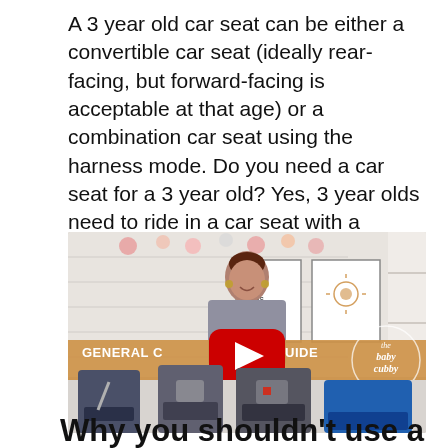A 3 year old car seat can be either a convertible car seat (ideally rear-facing, but forward-facing is acceptable at that age) or a combination car seat using the harness mode. Do you need a car seat for a 3 year old? Yes, 3 year olds need to ride in a car seat with a harness.
[Figure (screenshot): YouTube video thumbnail showing a woman standing behind car seats in a room decorated with paper pom-poms. Orange banner reads GENERAL CAR SEAT GUIDE / CAR SEAT INFORMATION. Red YouTube play button in center. The Baby Cubby logo circle on the right.]
Why you shouldn't use a